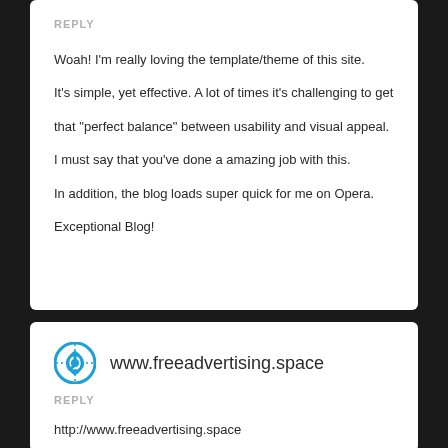REPLY
Woah! I'm really loving the template/theme of this site. It's simple, yet effective. A lot of times it's challenging to get that "perfect balance" between usability and visual appeal. I must say that you've done a amazing job with this. In addition, the blog loads super quick for me on Opera. Exceptional Blog!
www.freeadvertising.space
REPLY
http://www.freeadvertising.space